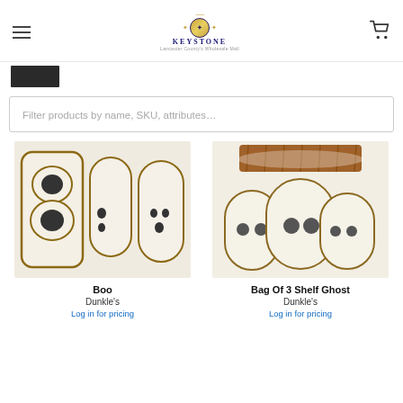Keystone - Lancaster County's Wholesale Mall
[Figure (screenshot): Dark image strip partial visible at top left]
Filter products by name, SKU, attributes...
[Figure (photo): BOO cookies - three ghost-shaped decorated sugar cookies spelling BOO]
Boo
Dunkle's
Log in for pricing
[Figure (photo): Bag Of 3 Shelf Ghost - three ghost-shaped sugar cookies in a clear bag with raffia tie]
Bag Of 3 Shelf Ghost
Dunkle's
Log in for pricing